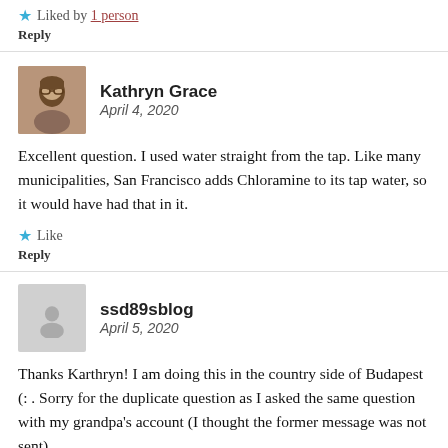★ Liked by 1 person
Reply
Kathryn Grace
April 4, 2020
Excellent question. I used water straight from the tap. Like many municipalities, San Francisco adds Chloramine to its tap water, so it would have had that in it.
★ Like
Reply
ssd89sblog
April 5, 2020
Thanks Karthryn! I am doing this in the country side of Budapest (: . Sorry for the duplicate question as I asked the same question with my grandpa's account (I thought the former message was not sent).